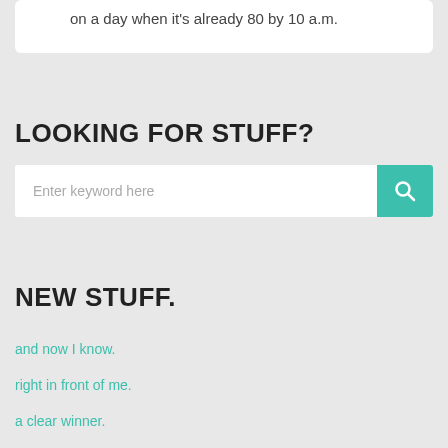on a day when it's already 80 by 10 a.m.
LOOKING FOR STUFF?
[Figure (other): Search bar with text input placeholder 'Enter keyword here' and a teal search button with magnifying glass icon]
NEW STUFF.
and now I know.
right in front of me.
a clear winner.